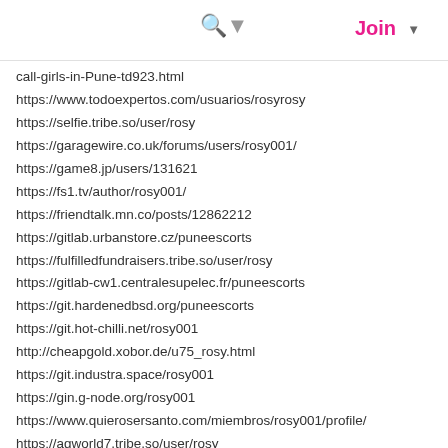Search | Join
call-girls-in-Pune-td923.html
https://www.todoexpertos.com/usuarios/rosyrosy
https://selfie.tribe.so/user/rosy
https://garagewire.co.uk/forums/users/rosy001/
https://game8.jp/users/131621
https://fs1.tv/author/rosy001/
https://friendtalk.mn.co/posts/12862212
https://gitlab.urbanstore.cz/puneescorts
https://fulfilledfundraisers.tribe.so/user/rosy
https://gitlab-cw1.centralesupelec.fr/puneescorts
https://git.hardenedbsd.org/puneescorts
https://git.hot-chilli.net/rosy001
http://cheapgold.xobor.de/u75_rosy.html
https://git.industra.space/rosy001
https://gin.g-node.org/rosy001
https://www.quierosersanto.com/miembros/rosy001/profile/
https://agworld7.tribe.so/user/rosy
https://codewalkersdevs.tribe.so/user/rosy
http://lifeanddeathforum.com/member.php?action=profile&uid=9868